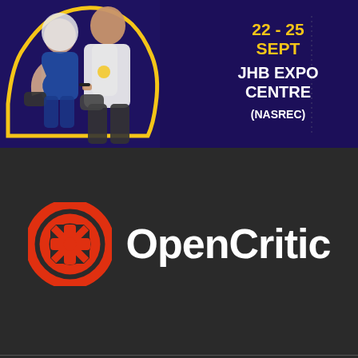[Figure (photo): Gaming expo promotional poster with dark purple background showing two people playing video games with yellow outline effect, text reads '22 - 25 SEPT JHB EXPO CENTRE (NASREC)']
[Figure (logo): OpenCritic logo: orange circle with game controller d-pad symbol (X shape inside circle) with dark circle border, next to 'OpenCritic' text in white bold font on dark background]